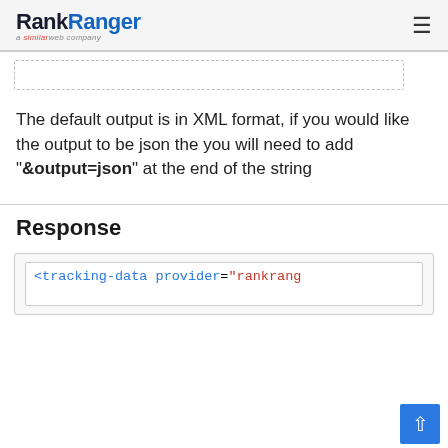RankRanger a similarweb company
[Figure (other): Input text box with dashed border, partially visible at top]
The default output is in XML format, if you would like the output to be json the you will need to add "&output=json" at the end of the string
Response
[Figure (screenshot): Code block showing XML: <tracking-data provider="rankrang...]